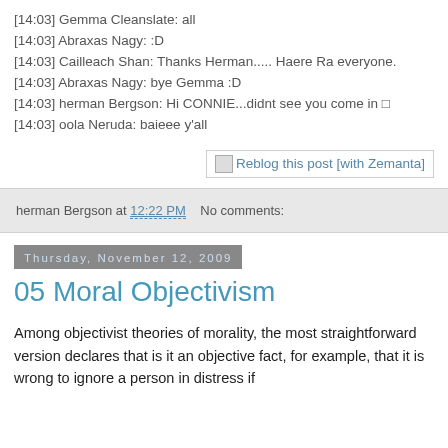[14:03] Gemma Cleanslate: all
[14:03] Abraxas Nagy: :D
[14:03] Cailleach Shan: Thanks Herman..... Haere Ra everyone.
[14:03] Abraxas Nagy: bye Gemma :D
[14:03] herman Bergson: Hi CONNIE...didnt see you come in □
[14:03] oola Neruda: baieee y'all
[Figure (other): Reblog this post [with Zemanta] button/link]
herman Bergson at 12:22 PM    No comments:
Thursday, November 12, 2009
05 Moral Objectivism
Among objectivist theories of morality, the most straightforward version declares that is it an objective fact, for example, that it is wrong to ignore a person in distress if